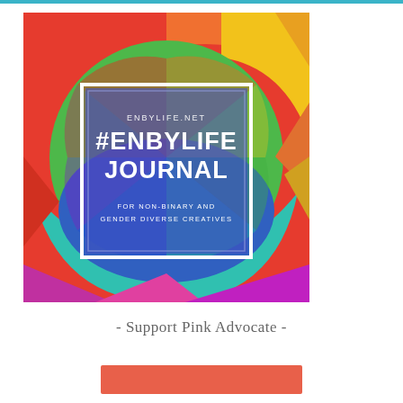[Figure (illustration): Book cover for #EnbyLife Journal for Non-Binary and Gender Diverse Creatives by enbylife.net. Colorful rainbow geometric circular pattern background with red, orange, yellow, green, teal, blue and purple/pink sections. A white-bordered rectangular box in the center contains the text 'ENBYLIFE.NET' in small caps, '#ENBYLIFE JOURNAL' in large bold white text, and 'FOR NON-BINARY AND GENDER DIVERSE CREATIVES' in small white uppercase text.]
- Support Pink Advocate -